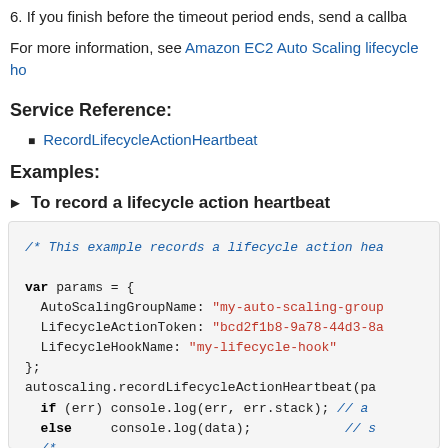6. If you finish before the timeout period ends, send a callback...
For more information, see Amazon EC2 Auto Scaling lifecycle ho...
Service Reference:
RecordLifecycleActionHeartbeat
Examples:
▶ To record a lifecycle action heartbeat
[Figure (screenshot): Code block showing JavaScript example that records a lifecycle action heartbeat using autoscaling.recordLifecycleActionHeartbeat with params including AutoScalingGroupName, LifecycleActionToken, and LifecycleHookName.]